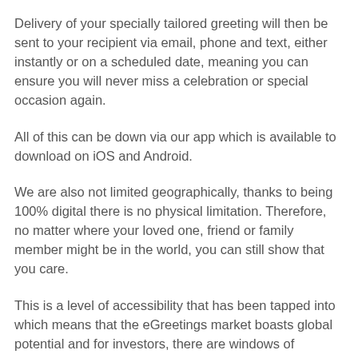Delivery of your specially tailored greeting will then be sent to your recipient via email, phone and text, either instantly or on a scheduled date, meaning you can ensure you will never miss a celebration or special occasion again.
All of this can be down via our app which is available to download on iOS and Android.
We are also not limited geographically, thanks to being 100% digital there is no physical limitation. Therefore, no matter where your loved one, friend or family member might be in the world, you can still show that you care.
This is a level of accessibility that has been tapped into which means that the eGreetings market boasts global potential and for investors, there are windows of opportunity to